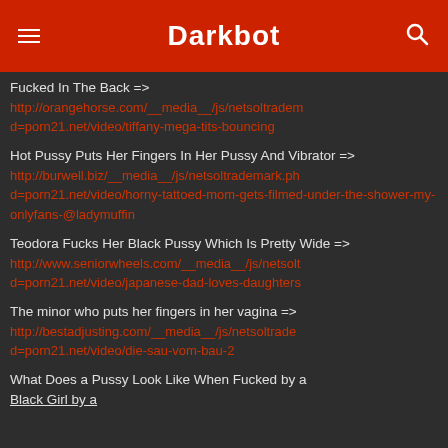Darkbot
Fucked In The Back => http://orangehorse.com/__media__/js/netsoltrademark.php?d=porn21.net/video/tiffany-mega-tits-bouncing
Hot Pussy Puts Her Fingers In Her Pussy And Vibrator => http://burwell.biz/__media__/js/netsoltrademark.php?d=porn21.net/video/horny-tattoed-mom-gets-filmed-under-the-shower-my-onlyfans-@ladymuffin
Teodora Fucks Her Black Pussy Which Is Pretty Wide => http://www.seniorwheels.com/__media__/js/netsoltrademark.php?d=porn21.net/video/japanese-dad-loves-daughters
The minor who puts her fingers in her vagina => http://bestadjusting.com/__media__/js/netsoltrademark.php?d=porn21.net/video/die-sau-vom-bau-2
What Does a Pussy Look Like When Fucked by a Black Girl by a...